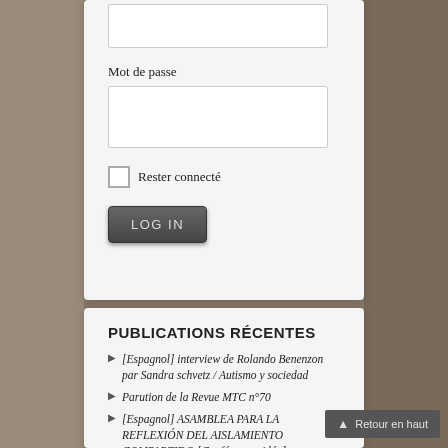Mot de passe
Rester connecté
LOG IN
PUBLICATIONS RÉCENTES
[Espagnol] interview de Rolando Benenzon par Sandra schvetz / Autismo y sociedad
Parution de la Revue MTC n°70
[Espagnol] ASAMBLEA PARA LA REFLEXIÓN DEL AISLAMIENTO COMPARTIDO [Conférence vidéo]
[Espagnol] Atenco Médico Beit Sion / De la…
Retour en haut